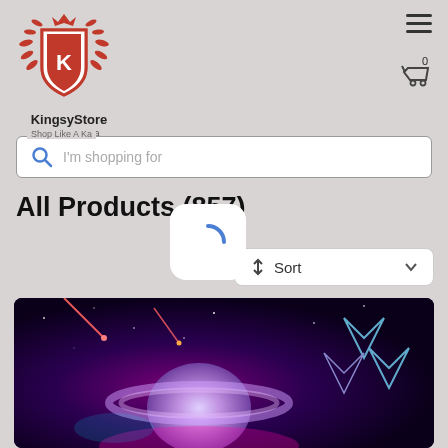[Figure (logo): KingsyStore red heraldic crest logo with laurel wreath and crown, letter K on shield]
KingsyStore
Shop Like A Ka
[Figure (other): Hamburger menu icon (three horizontal lines)]
[Figure (other): Shopping cart icon with 0 badge]
I'm shopping for
All Products (857)
[Figure (other): Loading spinner arc icon on white rounded rectangle]
[Figure (other): Sort dropdown button with up-down arrows and chevron]
[Figure (photo): Product image: colorful galaxy/space tapestry with Saturn planet, meteors, vibrant pink and purple cosmic scene with geometric diamond shapes on right side]